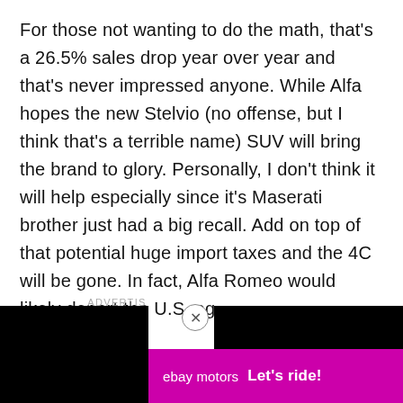For those not wanting to do the math, that's a 26.5% sales drop year over year and that's never impressed anyone. While Alfa hopes the new Stelvio (no offense, but I think that's a terrible name) SUV will bring the brand to glory. Personally, I don't think it will help especially since it's Maserati brother just had a big recall. Add on top of that potential huge import taxes and the 4C will be gone. In fact, Alfa Romeo would likely depart the U.S. ag
ADVERTIS
[Figure (other): Black video player overlay on right side of page]
[Figure (other): eBay Motors advertisement banner with pink/magenta background showing 'ebay motors Let's ride!']